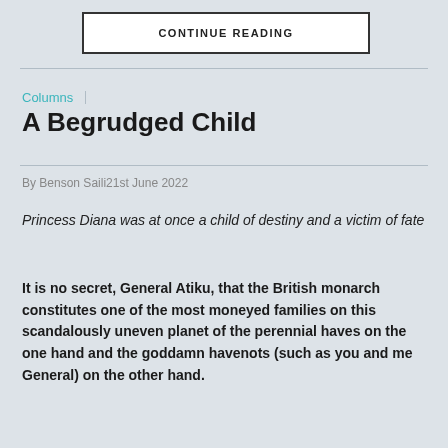CONTINUE READING
Columns
A Begrudged Child
By Benson Saili21st June 2022
Princess Diana was at once a child of destiny and a victim of fate
It is no secret, General Atiku, that the British monarch constitutes one of the most moneyed families on this scandalously uneven planet of the perennial haves on the one hand and the goddamn havenots (such as you and me General) on the other hand.